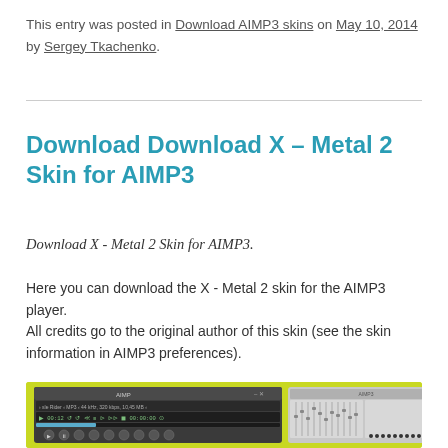This entry was posted in Download AIMP3 skins on May 10, 2014 by Sergey Tkachenko.
Download Download X – Metal 2 Skin for AIMP3
Download X - Metal 2 Skin for AIMP3.
Here you can download the X - Metal 2 skin for the AIMP3 player.
All credits go to the original author of this skin (see the skin information in AIMP3 preferences).
[Figure (screenshot): Screenshot of AIMP3 player with X - Metal 2 skin showing the main player window and equalizer panel on a yellow-green background]